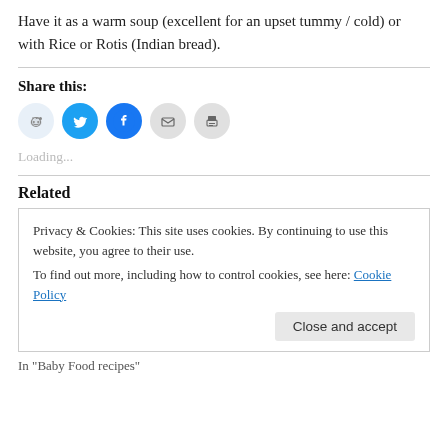Have it as a warm soup (excellent for an upset tummy / cold) or with Rice or Rotis (Indian bread).
Share this:
[Figure (other): Social share icons: Reddit (light blue circle), Twitter (blue circle), Facebook (dark blue circle), Email (gray circle), Print (gray circle)]
Loading...
Related
Privacy & Cookies: This site uses cookies. By continuing to use this website, you agree to their use.
To find out more, including how to control cookies, see here: Cookie Policy
In "Baby Food recipes"